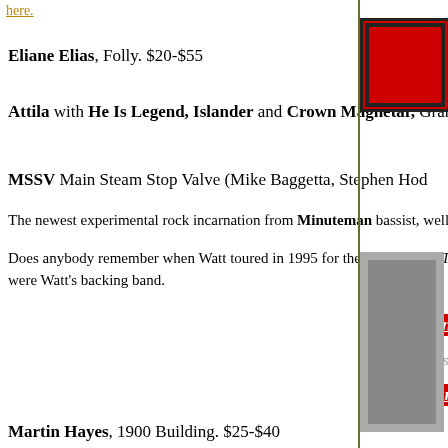here.
Eliane Elias, Folly. $20-$55
Attila with He Is Legend, Islander and Crown Magnetar, Granada. $22-$25
MSSV Main Steam Stop Valve (Mike Baggetta, Stephen Hod...
The newest experimental rock incarnation from Minuteman bassist, well known g...
Does anybody remember when Watt toured in 1995 for the Ball-Hog or Tugboat s... were Watt's backing band.
Sunday April 17
hunt some Easter eggs
Monday April 18
Martin Hayes, 1900 Building. $25-$40
Local H, recordBar, $15
The bound for the floor Illinois rockers are back, in support of 2020's LIFERS and a quarantine mix-tape, and is still anchored by bandleader Scott Lucas. Any band that encores with a song called